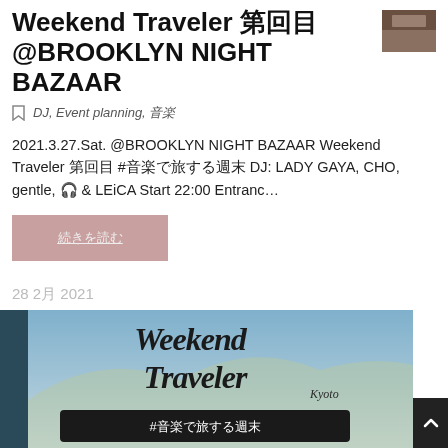Weekend Traveler 第回目 @BROOKLYN NIGHT BAZAAR
DJ, Event planning, 音楽
2021.3.27.Sat. @BROOKLYN NIGHT BAZAAR Weekend Traveler 第回目 #音楽で旅する週末 DJ: LADY GAYA, CHO, gentle, 🎧 & LEiCA Start 22:00 Entranc…
続きを読む
28 2月 2021
[Figure (illustration): Weekend Traveler Kyoto event poster image with cursive script text 'Weekend Traveler' and '#音楽で旅する週末' on a dark banner over a scenic background]